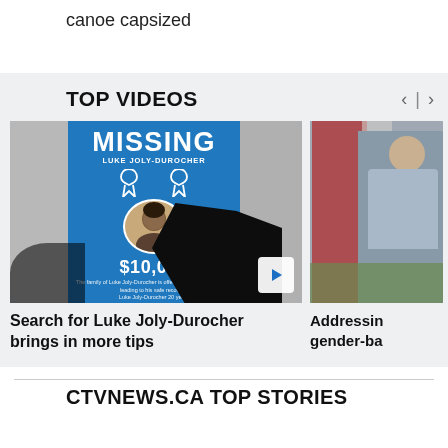canoe capsized
TOP VIDEOS
[Figure (screenshot): Video thumbnail showing a MISSING poster for Luke Joly-Durocher on a blue background with $10,000 reward, partially obscured by a dark object, with a play button]
Search for Luke Joly-Durocher brings in more tips
[Figure (screenshot): Video thumbnail showing a person standing in front of a Canadian flag]
Addressin gender-ba
CTVNEWS.CA TOP STORIES